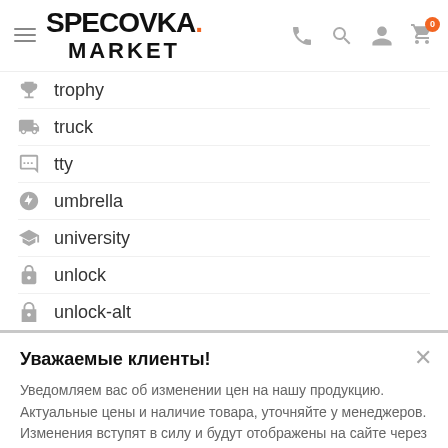SPECOVKA. MARKET
trophy
truck
tty
umbrella
university
unlock
unlock-alt
Уважаемые клиенты!
Уведомляем вас об изменении цен на нашу продукцию. Актуальные цены и наличие товара, уточняйте у менеджеров. Изменения вступят в силу и будут отображены на сайте через 3 рабочих дня.
ПОНЯТНО